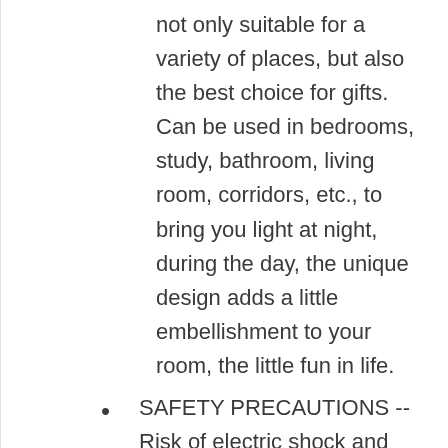not only suitable for a variety of places, but also the best choice for gifts. Can be used in bedrooms, study, bathroom, living room, corridors, etc., to bring you light at night, during the day, the unique design adds a little embellishment to your room, the little fun in life.
SAFETY PRECAUTIONS -- Risk of electric shock and fire hazard. This product is not a toy and is not intended for use by children. For adult use only. For safe